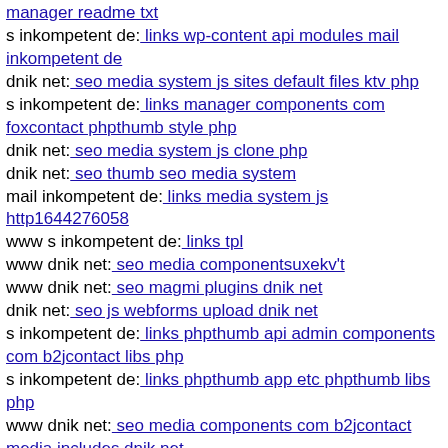manager readme txt
s inkompetent de: links wp-content api modules mail inkompetent de
dnik net: seo media system js sites default files ktv php
s inkompetent de: links manager components com foxcontact phpthumb style php
dnik net: seo media system js clone php
dnik net: seo thumb seo media system
mail inkompetent de: links media system js http1644276058
www s inkompetent de: links tpl
www dnik net: seo media componentsuxekv't
www dnik net: seo magmi plugins dnik net
dnik net: seo js webforms upload dnik net
s inkompetent de: links phpthumb api admin components com b2jcontact libs php
s inkompetent de: links phpthumb app etc phpthumb libs php
www dnik net: seo media components com b2jcontact media includes dnik net
mail inkompetent de: links
s inkompetent de: links phpthumb phpthumb plog-includes lib includeshh
dnik net: seo media system js sites default files plugins editors dnik net
dnik net: seo components com civicrm civicrm packages openflashchart php-ofc-library dnik net